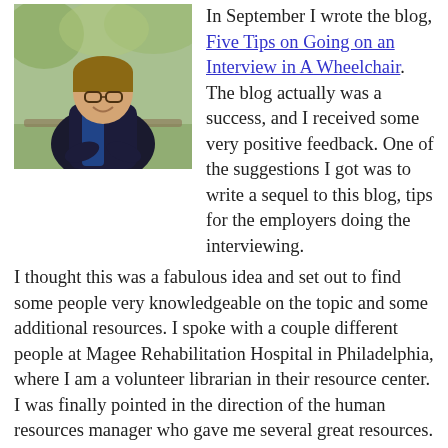[Figure (photo): A smiling woman with glasses sitting outdoors, wearing a dark jacket, trees with autumn foliage in background.]
In September I wrote the blog, Five Tips on Going on an Interview in A Wheelchair. The blog actually was a success, and I received some very positive feedback. One of the suggestions I got was to write a sequel to this blog, tips for the employers doing the interviewing. I thought this was a fabulous idea and set out to find some people very knowledgeable on the topic and some additional resources. I spoke with a couple different people at Magee Rehabilitation Hospital in Philadelphia, where I am a volunteer librarian in their resource center. I was finally pointed in the direction of the human resources manager who gave me several great resources.
Now with that, here are 5 tips for interviewing those who use Wheelchairs for Employment.
1. Make sure the location where you are conducting the interview is accessible to the candidate. For example, if there is a chair that